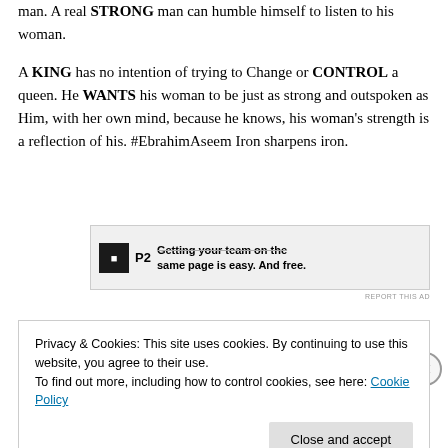man. A real STRONG man can humble himself to listen to his woman.

A KING has no intention of trying to Change or CONTROL a queen. He WANTS his woman to be just as strong and outspoken as Him, with her own mind, because he knows, his woman's strength is a reflection of his. #EbrahimAseem Iron sharpens iron.
[Figure (other): Advertisement banner for P2 - 'Getting your team on the same page is easy. And free.']
Privacy & Cookies: This site uses cookies. By continuing to use this website, you agree to their use.
To find out more, including how to control cookies, see here: Cookie Policy